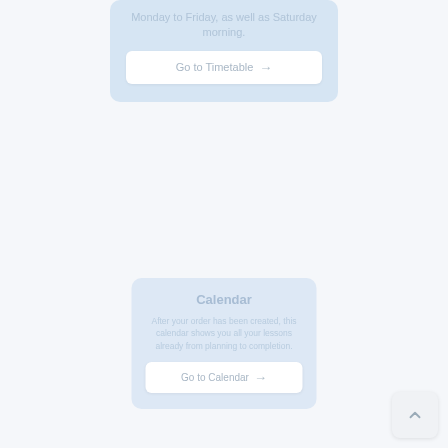Monday to Friday, as well as Saturday morning.
Go to Timetable →
Calendar
After your order has been created, this calendar shows you all your lessons already from planning to completion.
Go to Calendar →